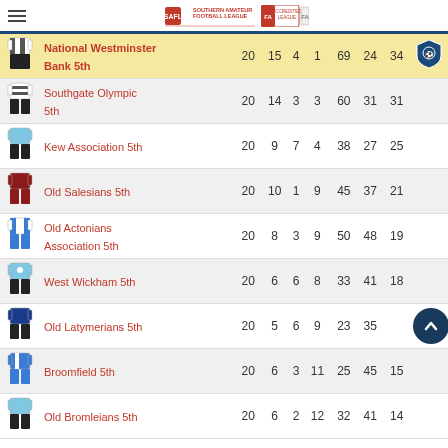Southern Amateur Football League
| Kit | Team | P | W | D | L | F | A | Pts |
| --- | --- | --- | --- | --- | --- | --- | --- | --- |
|  | National Westminster Bank 5th | 20 | 15 | 4 | 1 | 69 | 24 | 34 |
|  | Southgate Olympic 5th | 20 | 14 | 3 | 3 | 60 | 31 | 31 |
|  | Kew Association 5th | 20 | 9 | 7 | 4 | 38 | 27 | 25 |
|  | Old Salesians 5th | 20 | 10 | 1 | 9 | 45 | 37 | 21 |
|  | Old Actonians Association 5th | 20 | 8 | 3 | 9 | 50 | 48 | 19 |
|  | West Wickham 5th | 20 | 6 | 6 | 8 | 33 | 41 | 18 |
|  | Old Latymerians 5th | 20 | 5 | 6 | 9 | 23 | 35 |  |
|  | Broomfield 5th | 20 | 6 | 3 | 11 | 25 | 45 | 15 |
|  | Old Bromleians 5th | 20 | 6 | 2 | 12 | 32 | 41 | 14 |